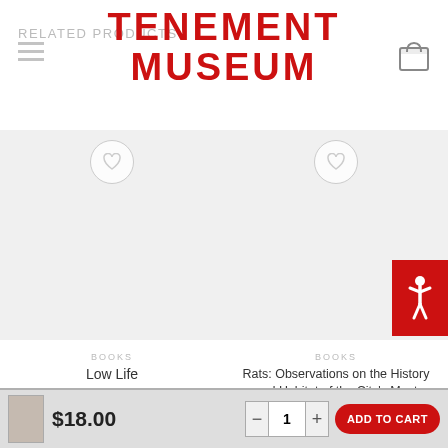RELATED PRODUCTS
TENEMENT MUSEUM
BOOKS
Low Life
$18.00
BOOKS
Rats: Observations on the History and Habitat of the City's Most Unwanted Inhabitants
$18.00
$18.00  1  ADD TO CART